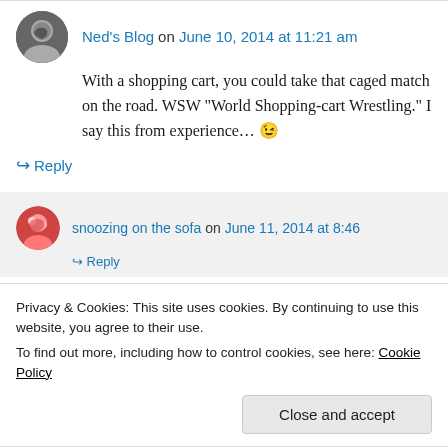Ned's Blog on June 10, 2014 at 11:21 am
With a shopping cart, you could take that caged match on the road. WSW “World Shopping-cart Wrestling.” I say this from experience… 😉
↪ Reply
snoozing on the sofa on June 11, 2014 at 8:46
Privacy & Cookies: This site uses cookies. By continuing to use this website, you agree to their use.
To find out more, including how to control cookies, see here: Cookie Policy
Close and accept